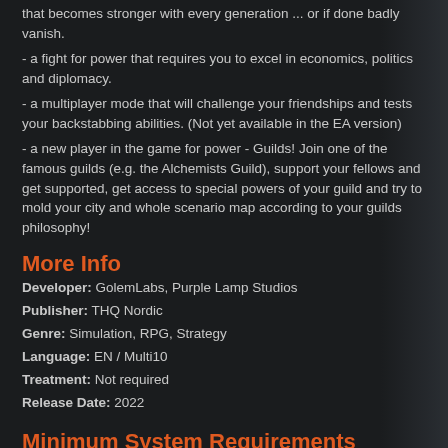that becomes stronger with every generation ... or if done badly vanish.
- a fight for power that requires you to excel in economics, politics and diplomacy.
- a multiplayer mode that will challenge your friendships and tests your backstabbing abilities. (Not yet available in the EA version)
- a new player in the game for power - Guilds! Join one of the famous guilds (e.g. the Alchemists Guild), support your fellows and get supported, get access to special powers of your guild and try to mold your city and whole scenario map according to your guilds philosophy!
More Info
Developer:  GolemLabs, Purple Lamp Studios
Publisher:  THQ Nordic
Genre:  Simulation, RPG, Strategy
Language:  EN / Multi10
Treatment:  Not required
Release Date:  2022
Minimum System Requirements
CPU:  2.5 GHz Dual Core Processor
RAM:  4 GB
OS:  Windows 7 / 8 / 10  (64 Bit)